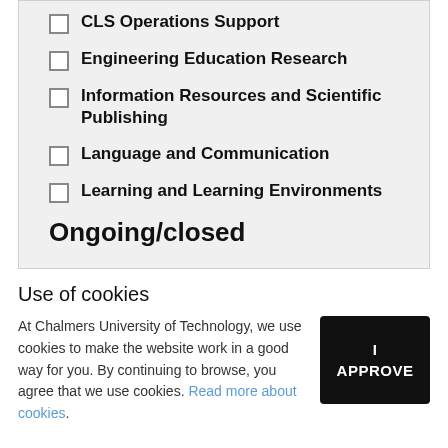CLS Operations Support
Engineering Education Research
Information Resources and Scientific Publishing
Language and Communication
Learning and Learning Environments
Ongoing/closed
Use of cookies
At Chalmers University of Technology, we use cookies to make the website work in a good way for you. By continuing to browse, you agree that we use cookies. Read more about cookies.